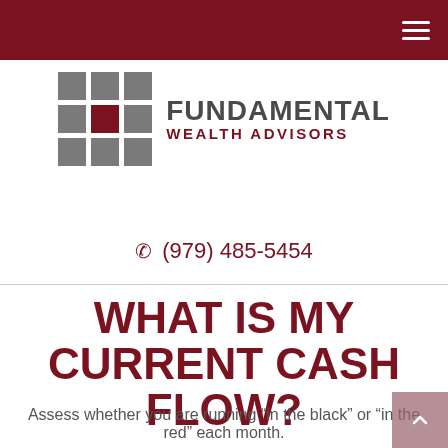Fundamental Wealth Advisors navigation header
[Figure (logo): Fundamental Wealth Advisors logo with 3x3 grid of squares (center square dark red, rest gray) and company name text]
(979) 485-5454
WHAT IS MY CURRENT CASH FLOW?
Assess whether you are running “in the black” or “in the red” each month.